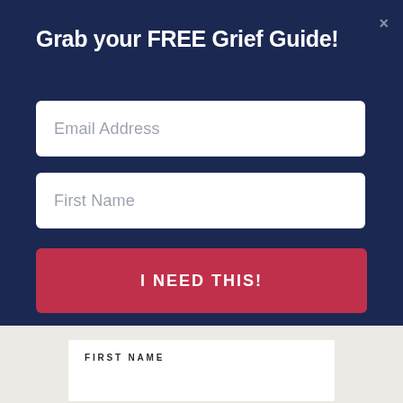Grab your FREE Grief Guide!
×
Email Address
First Name
I NEED THIS!
FIRST NAME
E-MAIL ADDRESS
SIGN ME UP, BUTTERCUP!